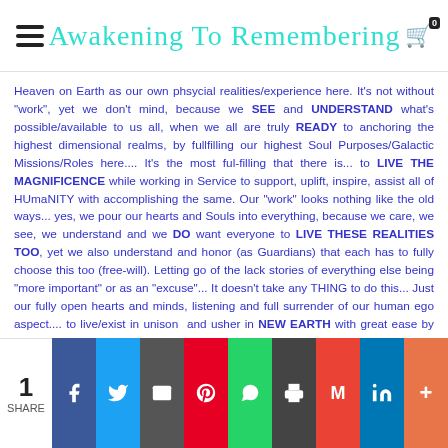Awakening To Remembering
Heaven on Earth as our own phsycial realities/experience here. It's not without "work", yet we don't mind, because we SEE and UNDERSTAND what's possible/available to us all, when we all are truly READY to anchoring the highest dimensional realms, by fullfilling our highest Soul Purposes/Galactic Missions/Roles here.... It's the most ful-filling that there is... to LIVE THE MAGNIFICENCE while working in Service to support, uplift, inspire, assist all of HUmaNITY with accomplishing the same. Our "work" looks nothing like the old ways... yes, we pour our hearts and Souls into everything, because we care, we see, we understand and we DO want everyone to LIVE THESE REALITIES TOO, yet we also understand and honor (as Guardians) that each has to fully choose this too (free-will). Letting go of the lack stories of everything else being "more important" or as an "excuse"... It doesn't take any THING to do this... Just our fully open hearts and minds, listening and full surrender of our human ego aspect.... to live/exist in unison and usher in NEW EARTH with great ease by honoring the immensity of these upgrades and transition processes that replace the
1 SHARE | Facebook | Twitter | Email | Pinterest | WhatsApp | Print | Gmail | LinkedIn | More